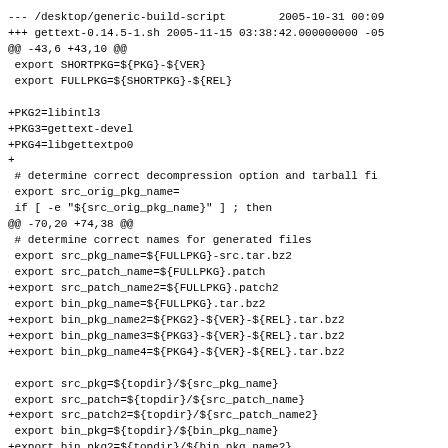--- /desktop/generic-build-script        2005-10-31 00:09
+++ gettext-0.14.5-1.sh 2005-11-15 03:38:42.000000000 -05
@@ -43,6 +43,10 @@
 export SHORTPKG=${PKG}-${VER}
 export FULLPKG=${SHORTPKG}-${REL}

+PKG2=libintl3
+PKG3=gettext-devel
+PKG4=libgettextpo0
+
 # determine correct decompression option and tarball fi
 export src_orig_pkg_name=
 if [ -e "${src_orig_pkg_name}" ] ; then
@@ -70,20 +74,38 @@
 # determine correct names for generated files
 export src_pkg_name=${FULLPKG}-src.tar.bz2
 export src_patch_name=${FULLPKG}.patch
+export src_patch_name2=${FULLPKG}.patch2
 export bin_pkg_name=${FULLPKG}.tar.bz2
+export bin_pkg_name2=${PKG2}-${VER}-${REL}.tar.bz2
+export bin_pkg_name3=${PKG3}-${VER}-${REL}.tar.bz2
+export bin_pkg_name4=${PKG4}-${VER}-${REL}.tar.bz2

 export src_pkg=${topdir}/${src_pkg_name}
 export src_patch=${topdir}/${src_patch_name}
+export src_patch2=${topdir}/${src_patch_name2}
 export bin_pkg=${topdir}/${bin_pkg_name}
+export bin_pkg2=${topdir}/${bin_pkg_name2}